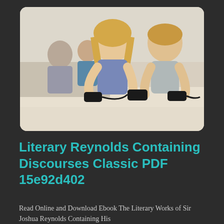[Figure (photo): Two children (a girl and a boy) lying on a carpet playing video games with controllers, with two adults sitting on a couch in the background.]
Literary Reynolds Containing Discourses Classic PDF 15e92d402
Read Online and Download Ebook The Literary Works of Sir Joshua Reynolds Containing His